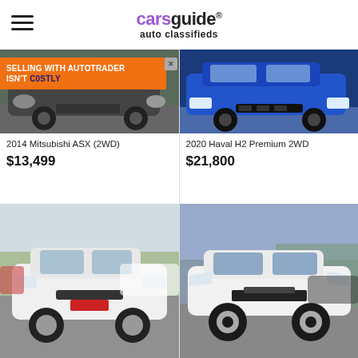carsguide auto classifieds
[Figure (screenshot): Ad banner: SELLING WITH AUTOTRADER ISN'T COSTLY overlaid on car image]
2014 Mitsubishi ASX (2WD)
$13,499
2020 Haval H2 Premium 2WD
$21,800
[Figure (photo): White Mitsubishi Lancer sedan, front view, dealership lot]
[Figure (photo): White Hyundai i30 sedan, front view, dealership lot]